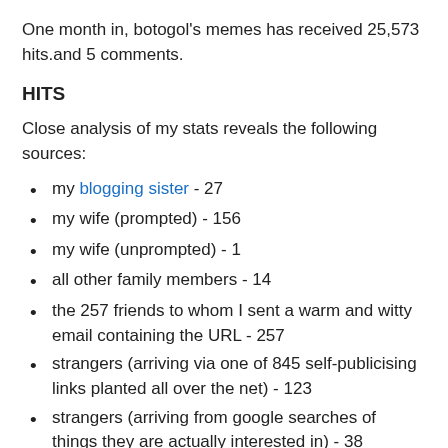One month in, botogol's memes has received 25,573 hits.and 5 comments.
HITS
Close analysis of my stats reveals the following sources:
my blogging sister - 27
my wife (prompted) - 156
my wife (unprompted) - 1
all other family members - 14
the 257 friends to whom I sent a warm and witty email containing the URL - 257
strangers (arriving via one of 845 self-publicising links planted all over the net) - 123
strangers (arriving from google searches of things they are actually interested in) - 38
myself (admiring my own wit and cleverness) - 5,259